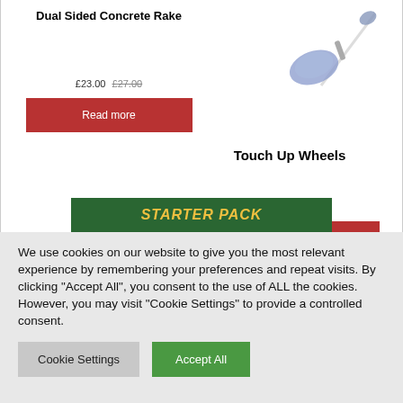Dual Sided Concrete Rake
£23.00 £27.00
Read more
[Figure (illustration): Illustration of a touch-up wheel tool, blue/grey colored with a handle, shown at an angle from top-right area of the product card]
Touch Up Wheels
Read more
STARTER PACK
We use cookies on our website to give you the most relevant experience by remembering your preferences and repeat visits. By clicking "Accept All", you consent to the use of ALL the cookies. However, you may visit "Cookie Settings" to provide a controlled consent.
Cookie Settings
Accept All